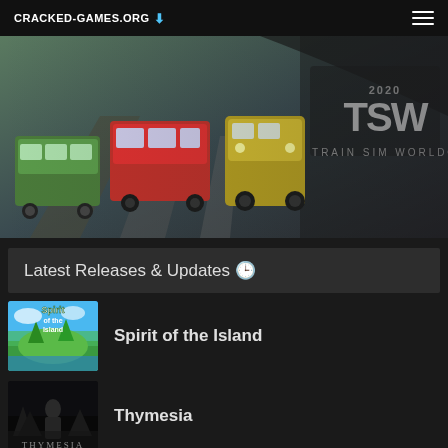CRACKED-GAMES.ORG
[Figure (screenshot): Train Sim World 2020 promotional banner showing multiple trains on railway tracks with TSW 2020 Train Sim World logo]
Latest Releases & Updates 🕐
[Figure (screenshot): Spirit of the Island game thumbnail showing colorful island scene]
Spirit of the Island
[Figure (screenshot): Thymesia game thumbnail showing dark gothic figure]
Thymesia